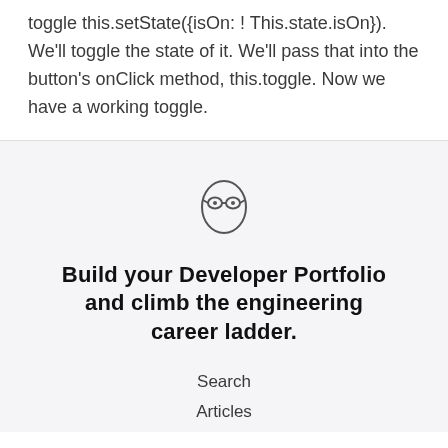toggle this.setState({isOn: ! This.state.isOn}). We'll toggle the state of it. We'll pass that into the button's onClick method, this.toggle. Now we have a working toggle.
[Figure (illustration): A cartoon face icon with round glasses and oval head outline]
Build your Developer Portfolio and climb the engineering career ladder.
Search
Articles